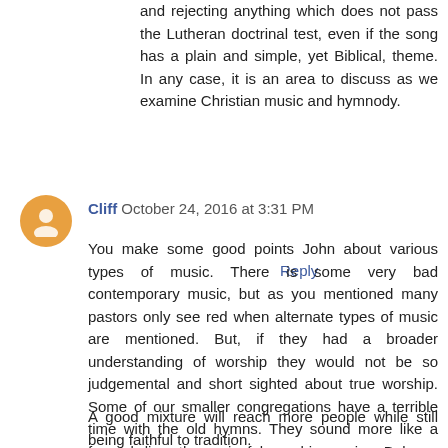and rejecting anything which does not pass the Lutheran doctrinal test, even if the song has a plain and simple, yet Biblical, theme. In any case, it is an area to discuss as we examine Christian music and hymnody.
Reply
Cliff October 24, 2016 at 3:31 PM
You make some good points John about various types of music. There is some very bad contemporary music, but as you mentioned many pastors only see red when alternate types of music are mentioned. But, if they had a broader understanding of worship they would not be so judgemental and short sighted about true worship. Some of our smaller congregations have a terrible time with the old hymns. They sound more like a funeral dirge than a joyful worship service. Balance is a subject that needs to happen in order to be faithful to what is suitable.
A good mixture will reach more people while still being faithful to tradition.